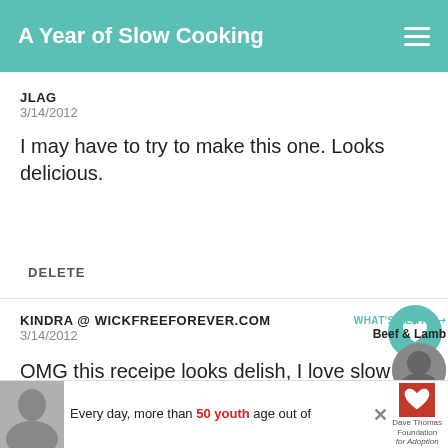A Year of Slow Cooking
JLAG
3/14/2012
I may have to try to make this one. Looks delicious.
DELETE
KINDRA @ WICKFREEFOREVER.COM
3/14/2012
OMG this receipe looks delish, I love slow cooking, I think I am to print this off and see if
[Figure (screenshot): Advertisement banner with photo of woman, text 'Every day, more than 50 youth age out of', Dave Thomas Foundation for Adoption logo]
9